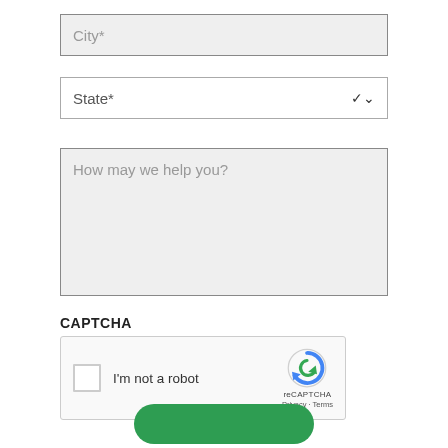City*
State*
How may we help you?
CAPTCHA
[Figure (other): reCAPTCHA widget with checkbox 'I'm not a robot' and reCAPTCHA logo with Privacy and Terms links]
[Figure (other): Green rounded submit button at the bottom]